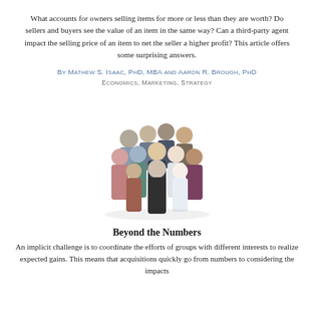What accounts for owners selling items for more or less than they are worth? Do sellers and buyers see the value of an item in the same way? Can a third-party agent impact the selling price of an item to net the seller a higher profit? This article offers some surprising answers.
By Mathew S. Isaac, PhD, MBA and Aaron R. Brough, PhD
Economics, Marketing, Strategy
[Figure (photo): Group photo of approximately 18-20 diverse business professionals standing together, viewed from slightly above, on a white background.]
Beyond the Numbers
An implicit challenge is to coordinate the efforts of groups with different interests to realize expected gains. This means that acquisitions quickly go from numbers to considering the impacts